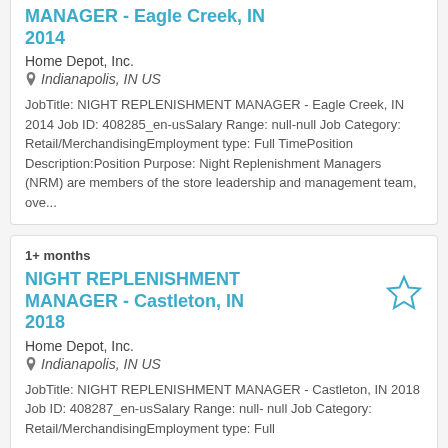NIGHT REPLENISHMENT MANAGER - Eagle Creek, IN 2014
Home Depot, Inc.
Indianapolis, IN US
JobTitle: NIGHT REPLENISHMENT MANAGER - Eagle Creek, IN 2014 Job ID: 408285_en-usSalary Range: null-null Job Category: Retail/MerchandisingEmployment type: Full TimePosition Description:Position Purpose: Night Replenishment Managers (NRM) are members of the store leadership and management team, ove...
1+ months
NIGHT REPLENISHMENT MANAGER - Castleton, IN 2018
Home Depot, Inc.
Indianapolis, IN US
JobTitle: NIGHT REPLENISHMENT MANAGER - Castleton, IN 2018 Job ID: 408287_en-usSalary Range: null- null Job Category: Retail/MerchandisingEmployment type: Full